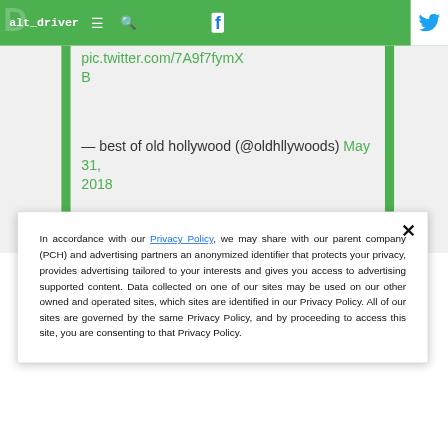alt_driver
pic.twitter.com/7A9f7fymXB
— best of old hollywood (@oldhllywoods) May 31, 2018
In accordance with our Privacy Policy, we may share with our parent company (PCH) and advertising partners an anonymized identifier that protects your privacy, provides advertising tailored to your interests and gives you access to advertising supported content. Data collected on one of our sites may be used on our other owned and operated sites, which sites are identified in our Privacy Policy. All of our sites are governed by the same Privacy Policy, and by proceeding to access this site, you are consenting to that Privacy Policy.